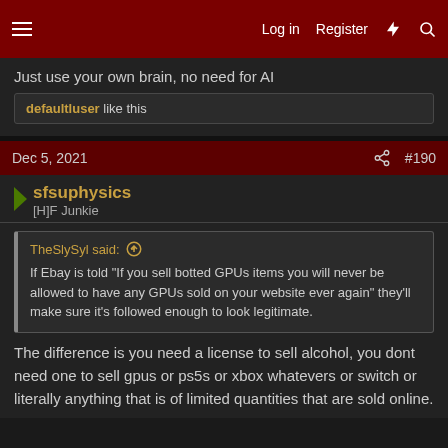Log in  Register  ⚡  🔍
Just use your own brain, no need for AI
defaultluser like this
Dec 5, 2021  #190
sfsuphysics
[H]F Junkie
TheSlySyl said: ↑ If Ebay is told "If you sell botted GPUs items you will never be allowed to have any GPUs sold on your website ever again" they'll make sure it's followed enough to look legitimate.
The difference is you need a license to sell alcohol, you dont need one to sell gpus or ps5s or xbox whatevers or switch or literally anything that is of limited quantities that are sold online.